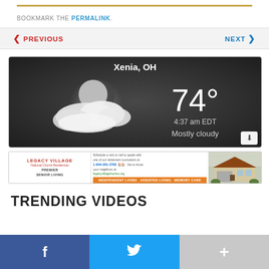BOOKMARK THE PERMALINK.
< PREVIOUS   NEXT >
[Figure (screenshot): Weather widget showing Xenia, OH with temperature 74°, time 4:37 am EDT, condition Mostly cloudy, with a moonlit cloudy sky background image]
[Figure (photo): Legacy Village Premier Senior Living advertisement banner with logo, contact info, phone number 1-844-201-2762, website legacyvillagehomes.org, Independent Living Assisted Living Memory Care, and photo of a house]
TRENDING VIDEOS
f  (Facebook share button)
Twitter share button
+ (More share button)